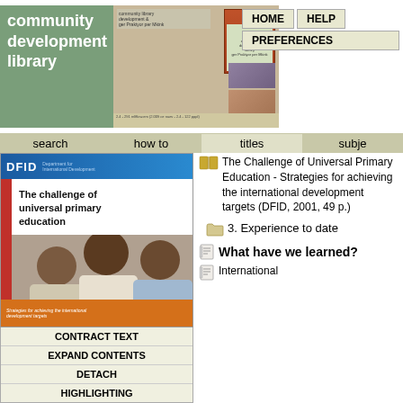[Figure (logo): Community Development Library logo with green text block and decorative book/photo collage]
[Figure (screenshot): Navigation buttons: HOME, HELP, PREFERENCES]
search   how to   titles   subje
[Figure (photo): DFID book cover: The challenge of universal primary education - Strategies for achieving the international development targets]
CONTRACT TEXT
EXPAND CONTENTS
DETACH
HIGHLIGHTING
The Challenge of Universal Primary Education - Strategies for achieving the international development targets (DFID, 2001, 49 p.)
3. Experience to date
What have we learned?
International